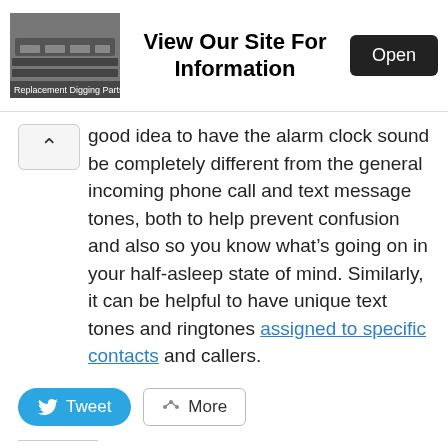[Figure (screenshot): Advertisement banner: image of chain/digging parts on left, bold text 'View Our Site For Information' in center, dark 'Open' button on right. Source label: 'Replacement Digging Parts']
good idea to have the alarm clock sound be completely different from the general incoming phone call and text message tones, both to help prevent confusion and also so you know what's going on in your half-asleep state of mind. Similarly, it can be helpful to have unique text tones and ringtones assigned to specific contacts and callers.
[Figure (screenshot): Tweet button (blue rounded) and More button (outlined) for social sharing]
Related
[Figure (screenshot): Two related article thumbnails: left shows iOS alarm clock set to 6:45 AM with toggle; right shows iPhone Sound settings screen]